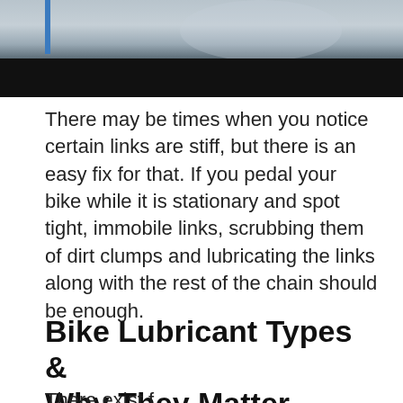[Figure (photo): Partial photo of a person with a bicycle, bottom portion showing dark/black bar]
There may be times when you notice certain links are stiff, but there is an easy fix for that. If you pedal your bike while it is stationary and spot tight, immobile links, scrubbing them of dirt clumps and lubricating the links along with the rest of the chain should be enough.
Bike Lubricant Types & Why They Matter
There exist f...